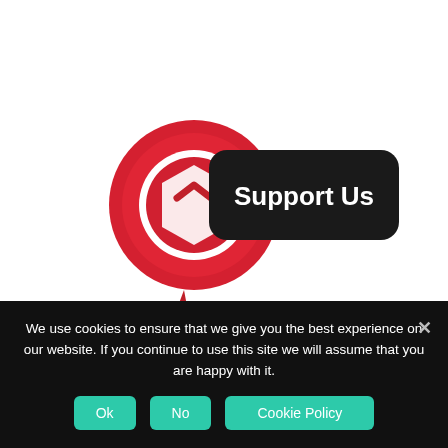[Figure (illustration): Support Us button graphic with a red ribbon/rosette award badge on the left and a dark rounded rectangle button with 'Support Us' text in white on the right]
← Huawei M835 Hard reset, Factory Reset and Password Recovery
We use cookies to ensure that we give you the best experience on our website. If you continue to use this site we will assume that you are happy with it.